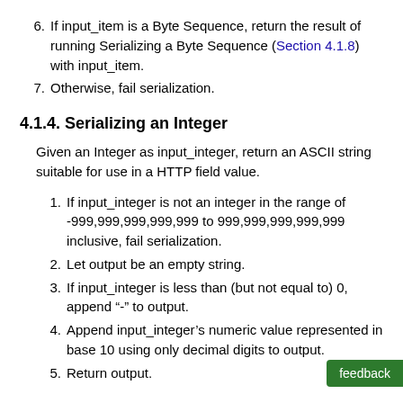6. If input_item is a Byte Sequence, return the result of running Serializing a Byte Sequence (Section 4.1.8) with input_item.
7. Otherwise, fail serialization.
4.1.4. Serializing an Integer
Given an Integer as input_integer, return an ASCII string suitable for use in a HTTP field value.
1. If input_integer is not an integer in the range of -999,999,999,999,999 to 999,999,999,999,999 inclusive, fail serialization.
2. Let output be an empty string.
3. If input_integer is less than (but not equal to) 0, append "-" to output.
4. Append input_integer's numeric value represented in base 10 using only decimal digits to output.
5. Return output.